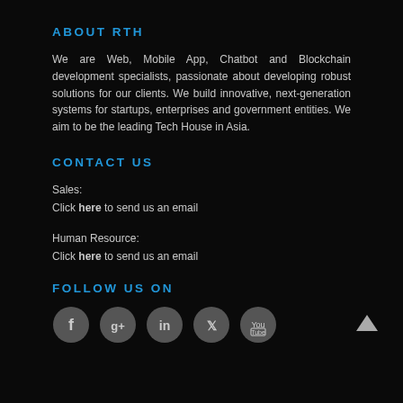ABOUT RTH
We are Web, Mobile App, Chatbot and Blockchain development specialists, passionate about developing robust solutions for our clients. We build innovative, next-generation systems for startups, enterprises and government entities. We aim to be the leading Tech House in Asia.
CONTACT US
Sales:
Click here to send us an email
Human Resource:
Click here to send us an email
FOLLOW US ON
[Figure (illustration): Five social media icons in circles: Facebook, Google+, LinkedIn, Twitter, YouTube]